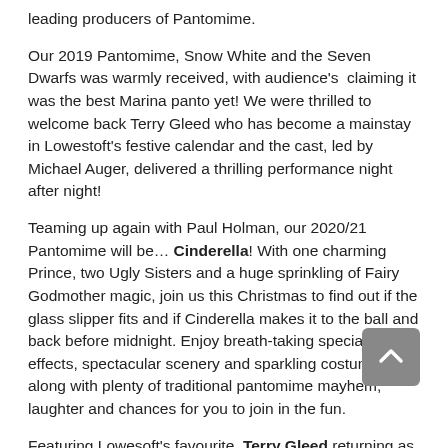leading producers of Pantomime.
Our 2019 Pantomime, Snow White and the Seven Dwarfs was warmly received, with audience's  claiming it was the best Marina panto yet! We were thrilled to welcome back Terry Gleed who has become a mainstay in Lowestoft's festive calendar and the cast, led by Michael Auger, delivered a thrilling performance night after night!
Teaming up again with Paul Holman, our 2020/21 Pantomime will be… Cinderella! With one charming Prince, two Ugly Sisters and a huge sprinkling of Fairy Godmother magic, join us this Christmas to find out if the glass slipper fits and if Cinderella makes it to the ball and back before midnight. Enjoy breath-taking special effects, spectacular scenery and sparkling costumes along with plenty of traditional pantomime mayhem, laughter and chances for you to join in the fun.
Featuring Lowesoft's favourite, Terry Gleed returning as panto favourite, Buttons. Running from the 10th December 2020 to the 1st January 2021...